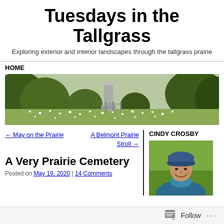Tuesdays in the Tallgrass
Exploring exterior and interior landscapes through the tallgrass prairie
HOME
[Figure (photo): Wide landscape photo of a prairie cemetery with wildflowers, green shrubs, and a stone monument, taken outdoors]
← May on the Prairie
A Belmont Prairie Stroll →
CINDY CROSBY
[Figure (photo): Portrait photo of a woman wearing a blue cap and blue scarf, smiling outdoors with green background]
A Very Prairie Cemetery
Posted on May 19, 2020 | 14 Comments